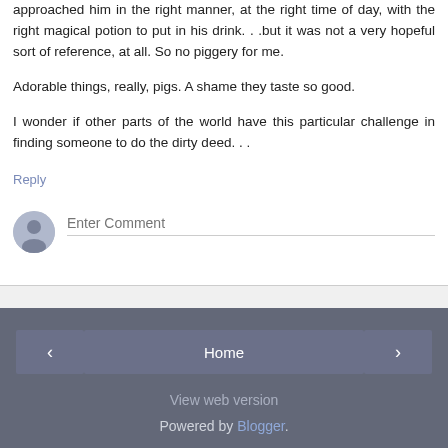approached him in the right manner, at the right time of day, with the right magical potion to put in his drink. . .but it was not a very hopeful sort of reference, at all. So no piggery for me.
Adorable things, really, pigs. A shame they taste so good.
I wonder if other parts of the world have this particular challenge in finding someone to do the dirty deed. . .
Reply
[Figure (screenshot): Comment input field with avatar icon and placeholder text 'Enter Comment']
< Home > View web version Powered by Blogger.